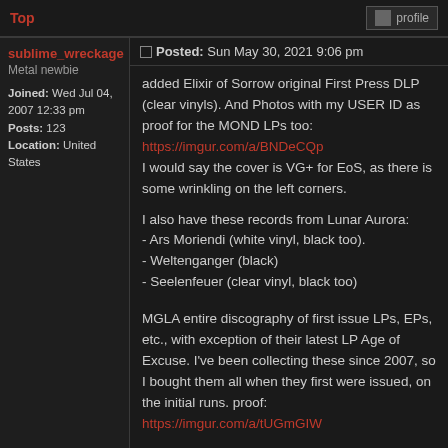Top | profile
sublime_wreckage
Metal newbie
Joined: Wed Jul 04, 2007 12:33 pm
Posts: 123
Location: United States
Posted: Sun May 30, 2021 9:06 pm
added Elixir of Sorrow original First Press DLP (clear vinyls). And Photos with my USER ID as proof for the MOND LPs too:
https://imgur.com/a/BNDeCQp
I would say the cover is VG+ for EoS, as there is some wrinkling on the left corners.

I also have these records from Lunar Aurora:
- Ars Moriendi (white vinyl, black too).
- Weltenganger (black)
- Seelenfeuer (clear vinyl, black too)


MGLA entire discography of first issue LPs, EPs, etc., with exception of their latest LP Age of Excuse. I've been collecting these since 2007, so I bought them all when they first were issued, on the initial runs. proof:
https://imgur.com/a/tUGmGIW

This includes: